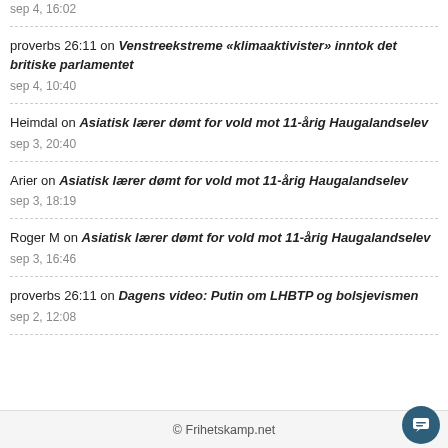sep 4, 16:02
proverbs 26:11 on Venstreekstreme «klimaaktivister» inntok det britiske parlamentet
sep 4, 10:40
Heimdal on Asiatisk lærer dømt for vold mot 11-årig Haugalandselev
sep 3, 20:40
Arier on Asiatisk lærer dømt for vold mot 11-årig Haugalandselev
sep 3, 18:19
Roger M on Asiatisk lærer dømt for vold mot 11-årig Haugalandselev
sep 3, 16:46
proverbs 26:11 on Dagens video: Putin om LHBTP og bolsjevismen
sep 2, 12:08
© Frihetskamp.net